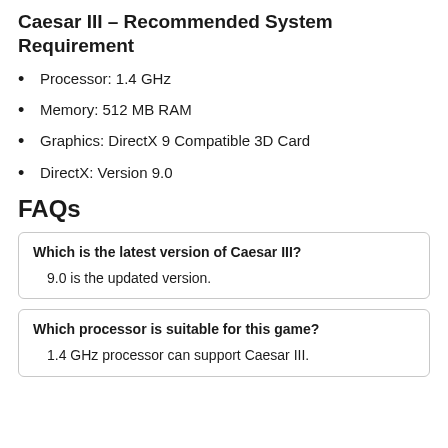Caesar III – Recommended System Requirement
Processor: 1.4 GHz
Memory: 512 MB RAM
Graphics: DirectX 9 Compatible 3D Card
DirectX: Version 9.0
FAQs
Which is the latest version of Caesar III?
9.0 is the updated version.
Which processor is suitable for this game?
1.4 GHz processor can support Caesar III.